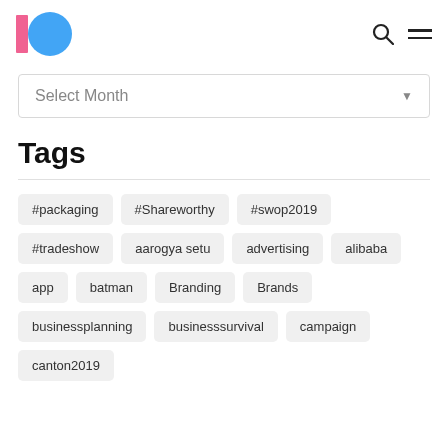Logo, Search, Menu
Select Month
Tags
#packaging
#Shareworthy
#swop2019
#tradeshow
aarogya setu
advertising
alibaba
app
batman
Branding
Brands
businessplanning
businesssurvival
campaign
canton2019